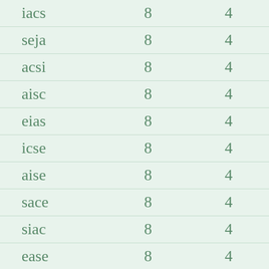| iacs | 8 | 4 |
| seja | 8 | 4 |
| acsi | 8 | 4 |
| aisc | 8 | 4 |
| eias | 8 | 4 |
| icse | 8 | 4 |
| aise | 8 | 4 |
| sace | 8 | 4 |
| siac | 8 | 4 |
| ease | 8 | 4 |